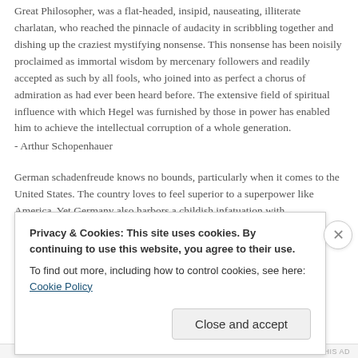Great Philosopher, was a flat-headed, insipid, nauseating, illiterate charlatan, who reached the pinnacle of audacity in scribbling together and dishing up the craziest mystifying nonsense. This nonsense has been noisily proclaimed as immortal wisdom by mercenary followers and readily accepted as such by all fools, who joined into as perfect a chorus of admiration as had ever been heard before. The extensive field of spiritual influence with which Hegel was furnished by those in power has enabled him to achieve the intellectual corruption of a whole generation.
- Arthur Schopenhauer
German schadenfreude knows no bounds, particularly when it comes to the United States. The country loves to feel superior to a superpower like America. Yet Germany also harbors a childish infatuation with
Privacy & Cookies: This site uses cookies. By continuing to use this website, you agree to their use.
To find out more, including how to control cookies, see here: Cookie Policy
Close and accept
REDIRECT THIS AD